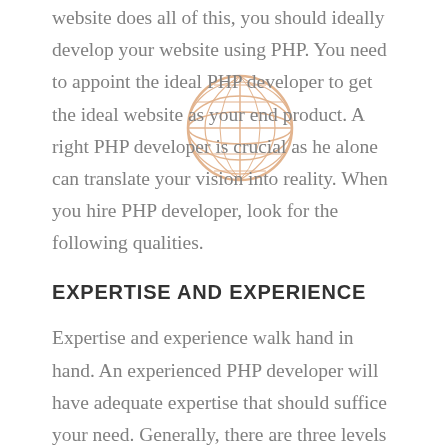website does all of this, you should ideally develop your website using PHP. You need to appoint the ideal PHP developer to get the ideal website as your end product. A right PHP developer is crucial as he alone can translate your vision into reality. When you hire PHP developer, look for the following qualities.
EXPERTISE AND EXPERIENCE
Expertise and experience walk hand in hand. An experienced PHP developer will have adequate expertise that should suffice your need. Generally, there are three levels of PHP developers – beginners, mid-level and advanced level developers. You can hire dedicated PHP developers in India depending on your requirement. If the website just
[Figure (illustration): A faint orange globe/world icon with latitude and longitude grid lines overlaid on the text]